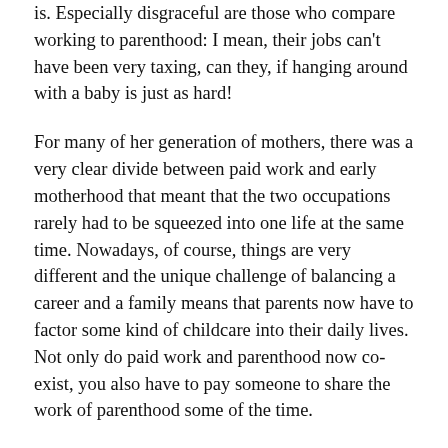is. Especially disgraceful are those who compare working to parenthood: I mean, their jobs can't have been very taxing, can they, if hanging around with a baby is just as hard!
For many of her generation of mothers, there was a very clear divide between paid work and early motherhood that meant that the two occupations rarely had to be squeezed into one life at the same time. Nowadays, of course, things are very different and the unique challenge of balancing a career and a family means that parents now have to factor some kind of childcare into their daily lives. Not only do paid work and parenthood now co-exist, you also have to pay someone to share the work of parenthood some of the time.
No wonder then that many parents struggle with the